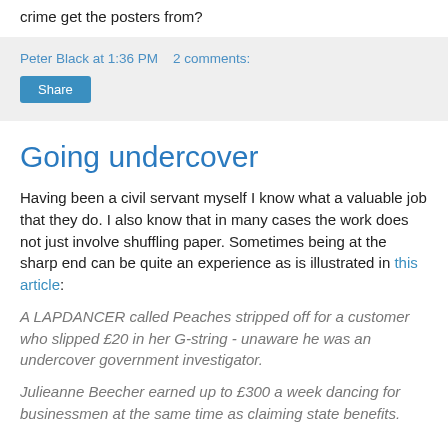crime get the posters from?
Peter Black at 1:36 PM   2 comments:
Share
Going undercover
Having been a civil servant myself I know what a valuable job that they do. I also know that in many cases the work does not just involve shuffling paper. Sometimes being at the sharp end can be quite an experience as is illustrated in this article:
A LAPDANCER called Peaches stripped off for a customer who slipped £20 in her G-string - unaware he was an undercover government investigator.
Julieanne Beecher earned up to £300 a week dancing for businessmen at the same time as claiming state benefits.